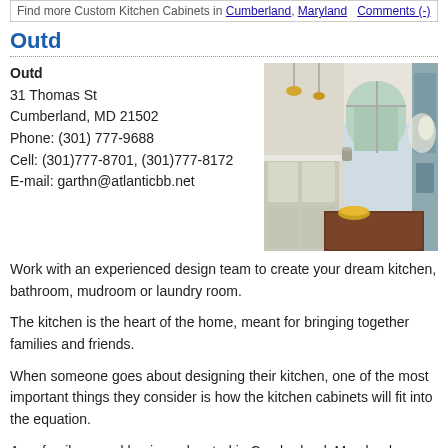Find more Custom Kitchen Cabinets in Cumberland, Maryland Comments (-)
Outd
Outd
31 Thomas St
Cumberland, MD 21502
Phone: (301) 777-9688
Cell: (301)777-8701, (301)777-8172
E-mail: garthn@atlanticbb.net
[Figure (photo): Interior photo of a kitchen with light cabinetry, arched window, pendant lighting, and dark wood island with bowl of fruit]
Work with an experienced design team to create your dream kitchen, bathroom, mudroom or laundry room.
The kitchen is the heart of the home, meant for bringing together families and friends.
When someone goes about designing their kitchen, one of the most important things they consider is how the kitchen cabinets will fit into the equation.
As a family owned business located in Cumberland, Maryland, we offer a wide array of products available for your Kitchen and Bath needs in our showroom.
Outd is a comprehensive remodeling company that can help you with all areas of your project from tear out, to complete design services for all rooms of your home or business. We specialize in providing quality